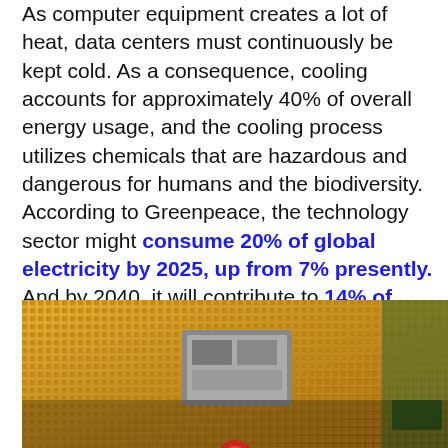As computer equipment creates a lot of heat, data centers must continuously be kept cold. As a consequence, cooling accounts for approximately 40% of overall energy usage, and the cooling process utilizes chemicals that are hazardous and dangerous for humans and the biodiversity. According to Greenpeace, the technology sector might consume 20% of global electricity by 2025, up from 7% presently. And by 2040, it will contribute to 14% of global greenhouse gas emissions. This can be easily explained by the expansion of cloud computing and the rise of new technologies such as blockchain that relies on a tremendous amount of data to run.
[Figure (photo): Close-up photo of a CPU processor chip showing golden contact pins and the central processor die on a green circuit board background.]